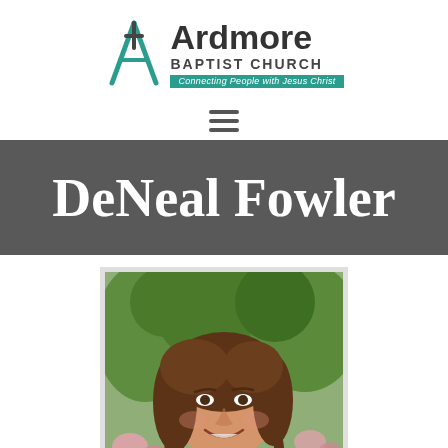[Figure (logo): Ardmore Baptist Church logo with teal cross/A symbol, bold 'Ardmore' text, 'BAPTIST CHURCH' subtitle, and teal banner reading 'Connecting People with Jesus Christ']
[Figure (infographic): Hamburger menu icon with three horizontal dark bars]
DeNeal Fowler
[Figure (photo): Portrait photo of a woman with medium-length brown wavy hair, smiling, wearing a red top, photographed outdoors with green foliage and pink flowers in the background]